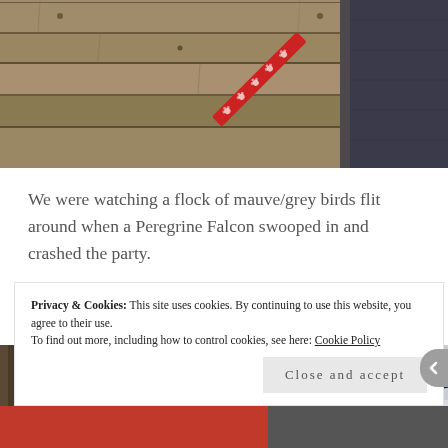[Figure (photo): Close-up photo of weathered wooden planks with a red leash/strap with white paw print pattern crossing diagonally, and a dark jacket or coat visible on the right side.]
We were watching a flock of mauve/grey birds flit around when a Peregrine Falcon swooped in and crashed the party.
[Figure (photo): Wide landscape photo of bare winter tree branches against a pale grey/white snowy sky, with a tree trunk visible on the left.]
Privacy & Cookies: This site uses cookies. By continuing to use this website, you agree to their use.
To find out more, including how to control cookies, see here: Cookie Policy